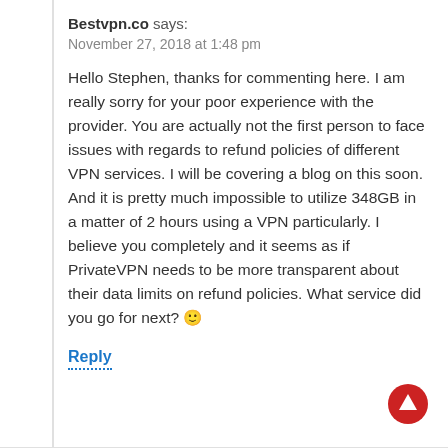Bestvpn.co says:
November 27, 2018 at 1:48 pm
Hello Stephen, thanks for commenting here. I am really sorry for your poor experience with the provider. You are actually not the first person to face issues with regards to refund policies of different VPN services. I will be covering a blog on this soon. And it is pretty much impossible to utilize 348GB in a matter of 2 hours using a VPN particularly. I believe you completely and it seems as if PrivateVPN needs to be more transparent about their data limits on refund policies. What service did you go for next? 🙂
Reply